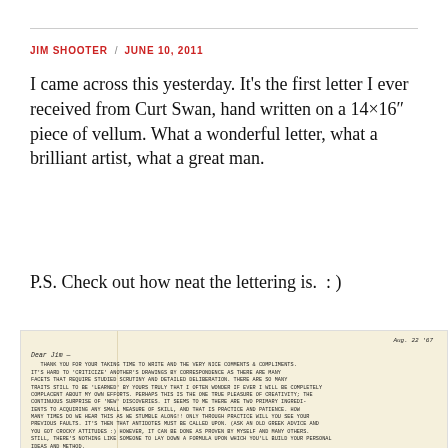JIM SHOOTER / JUNE 10, 2011
I came across this yesterday. It’s the first letter I ever received from Curt Swan, hand written on a 14×16” piece of vellum. What a wonderful letter, what a brilliant artist, what a great man.
P.S. Check out how neat the lettering is.  : )
[Figure (photo): Photograph of a handwritten letter on yellowed vellum paper dated Aug. 22 '67, addressed 'Dear Jim —' from Curt Swan, discussing art techniques, practice, patience, and comments on the recipient's sketches. The letter is written in neat block-style handwriting typical of a comic book letterer.]